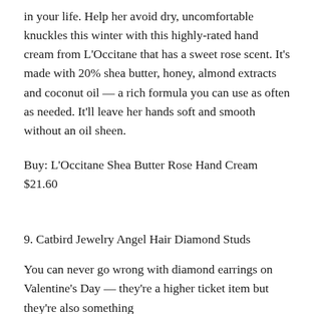in your life. Help her avoid dry, uncomfortable knuckles this winter with this highly-rated hand cream from L'Occitane that has a sweet rose scent. It's made with 20% shea butter, honey, almond extracts and coconut oil — a rich formula you can use as often as needed. It'll leave her hands soft and smooth without an oil sheen.
Buy: L'Occitane Shea Butter Rose Hand Cream $21.60
9. Catbird Jewelry Angel Hair Diamond Studs
You can never go wrong with diamond earrings on Valentine's Day — they're a higher ticket item but they're also something